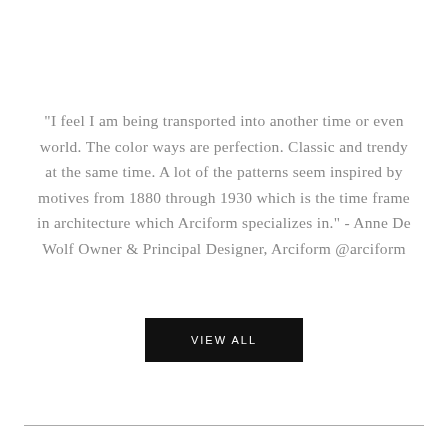“I feel I am being transported into another time or even world. The color ways are perfection. Classic and trendy at the same time. A lot of the patterns seem inspired by motives from 1880 through 1930 which is the time frame in architecture which Arciform specializes in.” - Anne De Wolf Owner & Principal Designer, Arciform @arciform
[Figure (other): Black rectangular button with white uppercase text reading VIEW ALL]